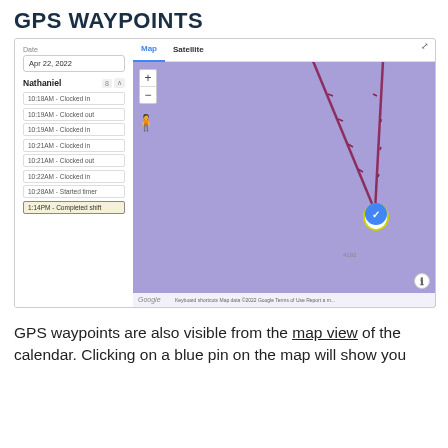GPS WAYPOINTS
[Figure (screenshot): Screenshot of GPS Waypoints interface showing a left sidebar with date 'Apr 22, 2022', employee name 'Nathaniel', and a list of timestamped events (clocked in, clocked out, started timer, completed shift), alongside a Google Maps view with a purple/lavender map background showing two diagonal lines converging to a blue check-mark pin marker, with map controls (zoom +/-, person icon), Map/Satellite toggle, and Google Maps footer.]
GPS waypoints are also visible from the map view of the calendar. Clicking on a blue pin on the map will show you